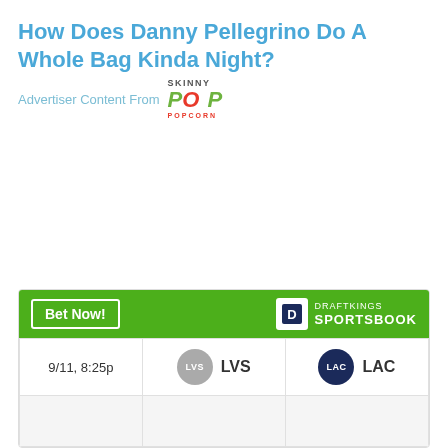How Does Danny Pellegrino Do A Whole Bag Kinda Night?
Advertiser Content From SkinnyPop Popcorn
[Figure (other): DraftKings Sportsbook betting widget showing matchup: 9/11, 8:25p — LVS vs LAC]